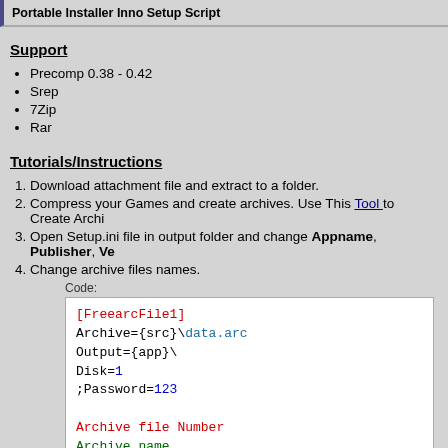Portable Installer Inno Setup Script
Support
Precomp 0.38 - 0.42
Srep
7Zip
Rar
Tutorials/Instructions
Download attachment file and extract to a folder.
Compress your Games and create archives. Use This Tool to Create Archi...
Open Setup.ini file in output folder and change Appname, Publisher, Ve...
Change archive files names.
Code:
[FreearcFile1]
Archive={src}\data.arc
Output={app}\
Disk=1
;Password=123

Archive file Number
Archive name
Which Disk your Archive is
Password of your archvie file